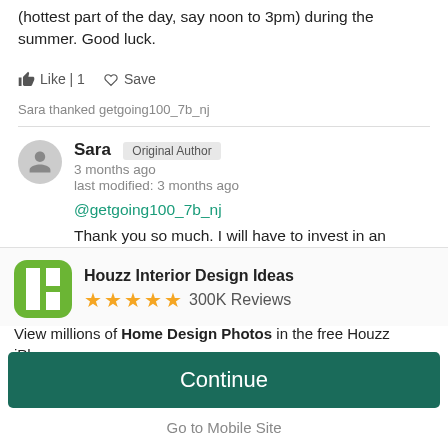(hottest part of the day, say noon to 3pm) during the summer. Good luck.
Like | 1   Save
Sara thanked getgoing100_7b_nj
Sara  Original Author
3 months ago
last modified: 3 months ago
@getgoing100_7b_nj
Thank you so much. I will have to invest in an
[Figure (logo): Houzz app logo - green square with H shape]
Houzz Interior Design Ideas
★★★★★ 300K Reviews
View millions of Home Design Photos in the free Houzz iPhone app
Continue
Go to Mobile Site